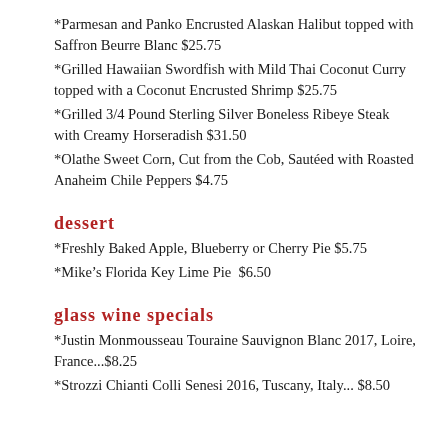*Parmesan and Panko Encrusted Alaskan Halibut topped with Saffron Beurre Blanc $25.75
*Grilled Hawaiian Swordfish with Mild Thai Coconut Curry topped with a Coconut Encrusted Shrimp $25.75
*Grilled 3/4 Pound Sterling Silver Boneless Ribeye Steak with Creamy Horseradish $31.50
*Olathe Sweet Corn, Cut from the Cob, Sautéed with Roasted Anaheim Chile Peppers $4.75
Dessert
*Freshly Baked Apple, Blueberry or Cherry Pie $5.75
*Mike's Florida Key Lime Pie  $6.50
Glass Wine Specials
*Justin Monmousseau Touraine Sauvignon Blanc 2017, Loire, France...$8.25
*Strozzi Chianti Colli Senesi 2016, Tuscany, Italy... $8.50